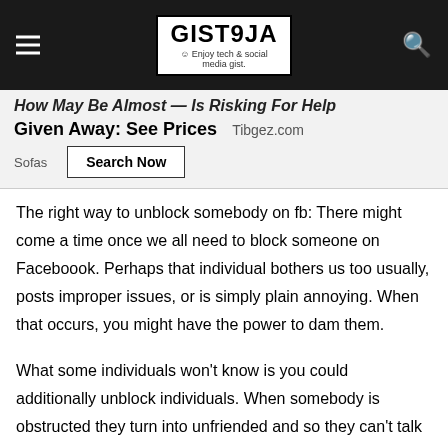GIST9JA — Enjoy tech & social media gist
How May Be Almost Given Away: See Prices | Is Risking For Help — Tibgez.com | Sofas | Search Now
The right way to unblock somebody on fb: There might come a time once we all need to block someone on Faceboook. Perhaps that individual bothers us too usually, posts improper issues, or is simply plain annoying. When that occurs, you might have the power to dam them.
What some individuals won't know is you could additionally unblock individuals. When somebody is obstructed they turn into unfriended and so they can't talk with you in any approach. You'll later resolve that you just simply made a mistake and also you need to unblock somebody. Right here's how: